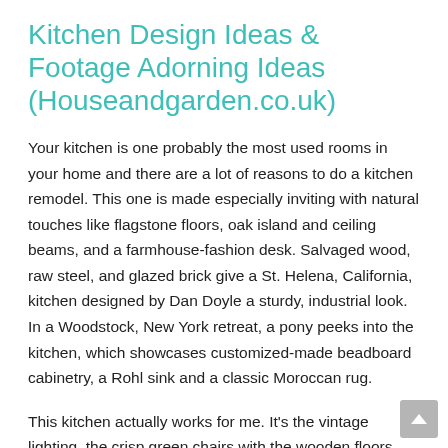Kitchen Design Ideas & Footage Adorning Ideas (Houseandgarden.co.uk)
Your kitchen is one probably the most used rooms in your home and there are a lot of reasons to do a kitchen remodel. This one is made especially inviting with natural touches like flagstone floors, oak island and ceiling beams, and a farmhouse-fashion desk. Salvaged wood, raw steel, and glazed brick give a St. Helena, California, kitchen designed by Dan Doyle a sturdy, industrial look. In a Woodstock, New York retreat, a pony peeks into the kitchen, which showcases customized-made beadboard cabinetry, a Rohl sink and a classic Moroccan rug.
This kitchen actually works for me. It's the vintage lighting, the crisp green chairs with the wooden floors and the white wall. Wooden pairs best with other pure supplies, corresponding to stone, however it's also possible to go for a mixture-and-match fashion, for instance with white high-gloss acrylic. Think about the location of windows, the